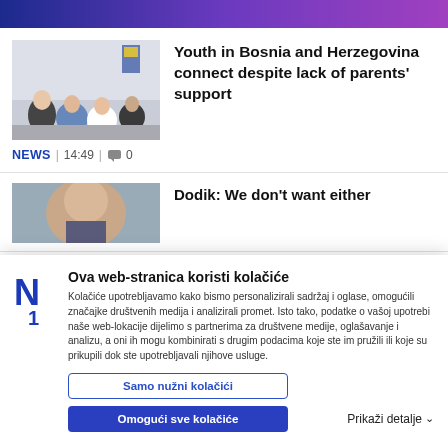Youth in Bosnia and Herzegovina connect despite lack of parents' support
[Figure (photo): Group of youth seated in a circle in a classroom setting with a Bosnia and Herzegovina flag visible]
NEWS | 14:49 | 0
Dodik: We don't want either
[Figure (photo): Partial view of a person's face]
Ova web-stranica koristi kolačiće
Kolačiće upotrebljavamo kako bismo personalizirali sadržaj i oglase, omogućili značajke društvenih medija i analizirali promet. Isto tako, podatke o vašoj upotrebi naše web-lokacije dijelimo s partnerima za društvene medije, oglašavanje i analizu, a oni ih mogu kombinirati s drugim podacima koje ste im pružili ili koje su prikupili dok ste upotrebljavali njihove usluge.
Samo nužni kolačići
Omogući sve kolačiće
Prikaži detalje